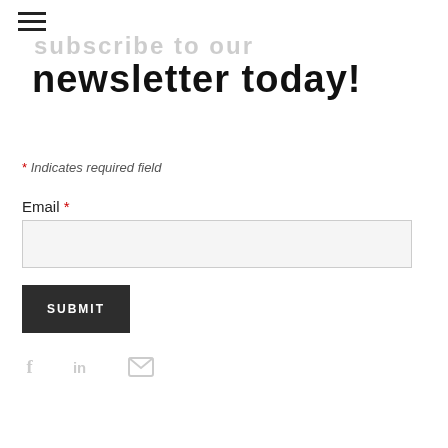[Figure (screenshot): Hamburger menu icon (three horizontal lines) in top left corner]
newsletter today!
* Indicates required field
Email *
SUBMIT
[Figure (illustration): Social media icons: Facebook (f), LinkedIn (in), and Mail (envelope) icons in light gray]